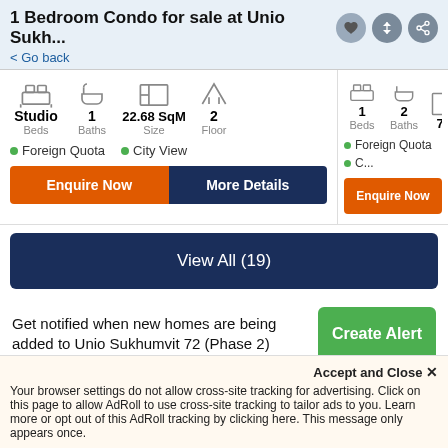1 Bedroom Condo for sale at Unio Sukh...
< Go back
Studio Beds | 1 Baths | 22.68 SqM Size | 2 Floor | Foreign Quota | City View
1 Beds | 2 Baths | Foreign Quota
View All (19)
Get notified when new homes are being added to Unio Sukhumvit 72 (Phase 2)
Create Alert
Payment Pl...
Accept and Close ✕
Your browser settings do not allow cross-site tracking for advertising. Click on this page to allow AdRoll to use cross-site tracking to tailor ads to you. Learn more or opt out of this AdRoll tracking by clicking here. This message only appears once.